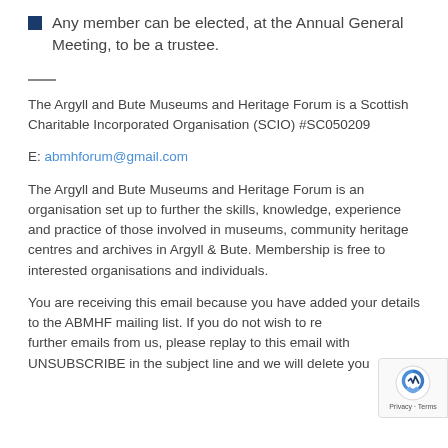Any member can be elected, at the Annual General Meeting, to be a trustee.
—
The Argyll and Bute Museums and Heritage Forum is a Scottish Charitable Incorporated Organisation (SCIO) #SC050209
E: abmhforum@gmail.com
The Argyll and Bute Museums and Heritage Forum is an organisation set up to further the skills, knowledge, experience and practice of those involved in museums, community heritage centres and archives in Argyll & Bute. Membership is free to interested organisations and individuals.
You are receiving this email because you have added your details to the ABMHF mailing list. If you do not wish to receive further emails from us, please replay to this email with UNSUBSCRIBE in the subject line and we will delete you...